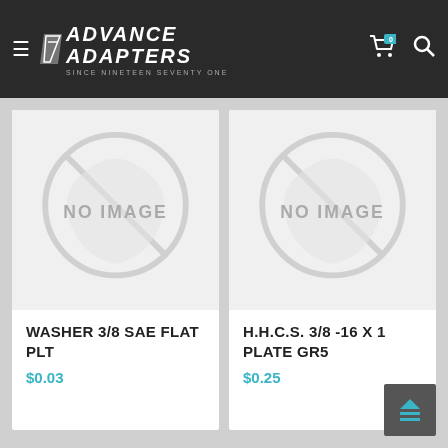Advance Adapters — Since Nineteen Seventy One
[Figure (photo): No image placeholder for WASHER 3/8 SAE FLAT PLT product]
WASHER 3/8 SAE FLAT PLT
$0.03
[Figure (photo): No image placeholder for H.H.C.S. 3/8 -16 X 1 PLATE GR5 product]
H.H.C.S. 3/8 -16 X 1 PLATE GR5
$0.25